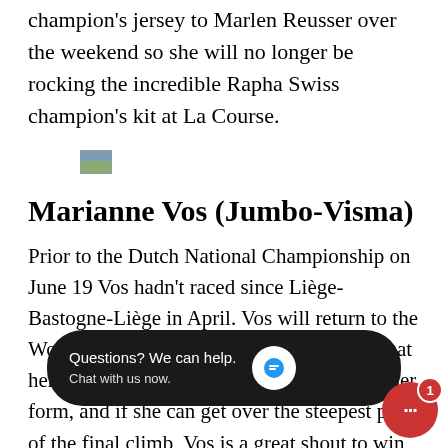champion's jersey to Marlen Reusser over the weekend so she will no longer be rocking the incredible Rapha Swiss champion's kit at La Course.
[Figure (photo): Small thumbnail image of a landscape or cycling-related photo]
Marianne Vos (Jumbo-Visma)
Prior to the Dutch National Championship on June 19 Vos hadn't raced since Liège-Bastogne-Liège in April. Vos will return to the Women's WorldTour on Saturday for a shot at her third La Course victory. Depending on her form, and if she can get over the steepest parts of the final climb, Vos is a great shout to win on Saturday. With the Olympics co... good blo... of training i... ng to see how Vos reacts to the high-pressure racing.